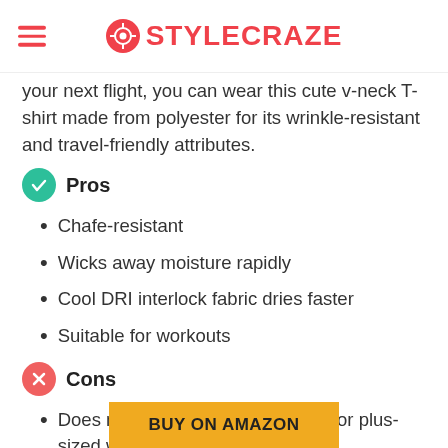STYLECRAZE
your next flight, you can wear this cute v-neck T-shirt made from polyester for its wrinkle-resistant and travel-friendly attributes.
Pros
Chafe-resistant
Wicks away moisture rapidly
Cool DRI interlock fabric dries faster
Suitable for workouts
Cons
Does not offer many size options for plus-sized women.
BUY ON AMAZON